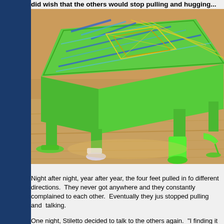did wish that the others would stop pulling and hugging...
[Figure (photo): A colorful green table with geometric chevron/stripe pattern painted on top, sitting on a wooden floor. The table legs are wearing different shoes/footwear: a flip-flop, a sneaker with sock, a green rain boot, and a high-heeled sandal.]
Night after night, year after year, the four feet pulled in fo different directions. They never got anywhere and they constantly complained to each other. Eventually they jus stopped pulling and talking.
One night, Stiletto decided to talk to the others again. "I finding it so boring and quiet all alone. I can't travel the or stomp down to the bay or up into the hills to fish, but i